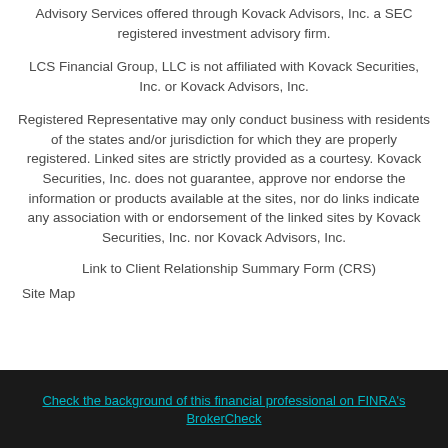Advisory Services offered through Kovack Advisors, Inc. a SEC registered investment advisory firm.
LCS Financial Group, LLC is not affiliated with Kovack Securities, Inc. or Kovack Advisors, Inc.
Registered Representative may only conduct business with residents of the states and/or jurisdiction for which they are properly registered. Linked sites are strictly provided as a courtesy. Kovack Securities, Inc. does not guarantee, approve nor endorse the information or products available at the sites, nor do links indicate any association with or endorsement of the linked sites by Kovack Securities, Inc. nor Kovack Advisors, Inc.
Link to Client Relationship Summary Form (CRS)
Site Map
Check the background of this financial professional on FINRA's BrokerCheck